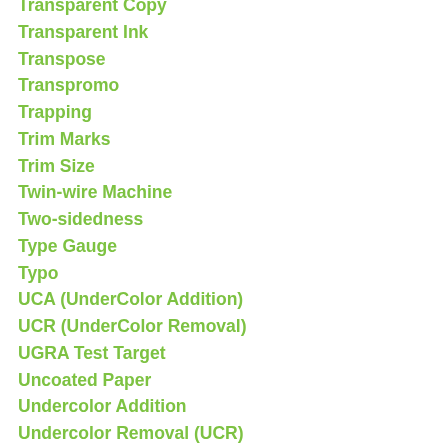Transparent Copy
Transparent Ink
Transpose
Transpromo
Trapping
Trim Marks
Trim Size
Twin-wire Machine
Two-sidedness
Type Gauge
Typo
UCA (UnderColor Addition)
UCR (UnderColor Removal)
UGRA Test Target
Uncoated Paper
Undercolor Addition
Undercolor Removal (UCR)
Unit
Universal Copyright Convention (UCC)